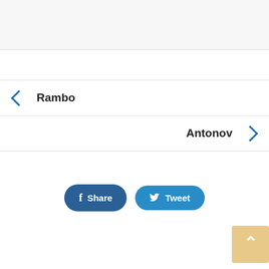[Figure (other): Top gray banner area]
← Rambo
Antonov →
Share  Tweet